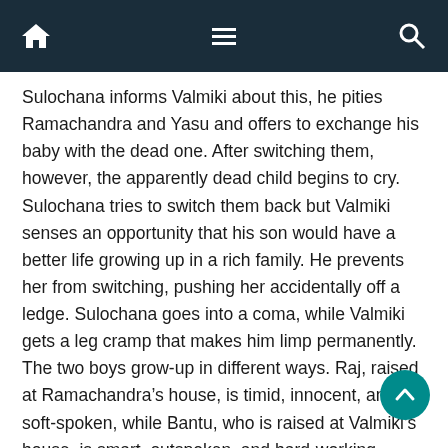Navigation bar with home, menu, and search icons
Sulochana informs Valmiki about this, he pities Ramachandra and Yasu and offers to exchange his baby with the dead one. After switching them, however, the apparently dead child begins to cry. Sulochana tries to switch them back but Valmiki senses an opportunity that his son would have a better life growing up in a rich family. He prevents her from switching, pushing her accidentally off a ledge. Sulochana goes into a coma, while Valmiki gets a leg cramp that makes him limp permanently. The two boys grow-up in different ways. Raj, raised at Ramachandra’s house, is timid, innocent, and soft-spoken, while Bantu, who is raised at Valmiki’s house, is smart, outspoken, and hard-working. Valmiki, who favours Raj, treats Bantu with disgust due to his true parentage.
After his MBA was denied by Valmiki, Bantu heads to an interview for a job at a travel company headed by Amulya...